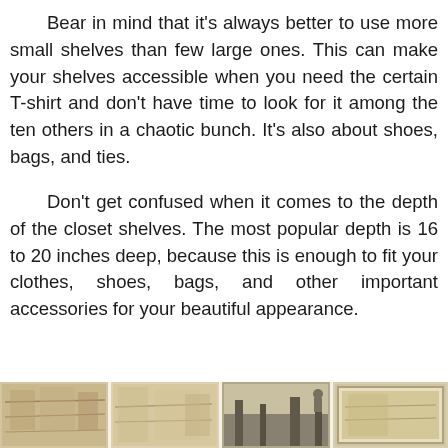Bear in mind that it's always better to use more small shelves than few large ones. This can make your shelves accessible when you need the certain T-shirt and don't have time to look for it among the ten others in a chaotic bunch. It's also about shoes, bags, and ties.
Don't get confused when it comes to the depth of the closet shelves. The most popular depth is 16 to 20 inches deep, because this is enough to fit your clothes, shoes, bags, and other important accessories for your beautiful appearance.
[Figure (photo): A strip of photographs showing closet/shelf interiors and outdoor scenes, arranged side by side horizontally at the bottom of the page.]